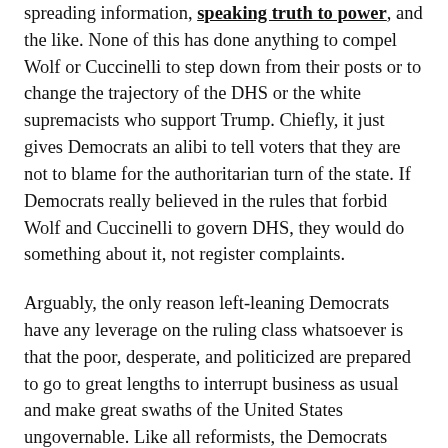spreading information, speaking truth to power, and the like. None of this has done anything to compel Wolf or Cuccinelli to step down from their posts or to change the trajectory of the DHS or the white supremacists who support Trump. Chiefly, it just gives Democrats an alibi to tell voters that they are not to blame for the authoritarian turn of the state. If Democrats really believed in the rules that forbid Wolf and Cuccinelli to govern DHS, they would do something about it, not register complaints.
Arguably, the only reason left-leaning Democrats have any leverage on the ruling class whatsoever is that the poor, desperate, and politicized are prepared to go to great lengths to interrupt business as usual and make great swaths of the United States ungovernable. Like all reformists, the Democrats